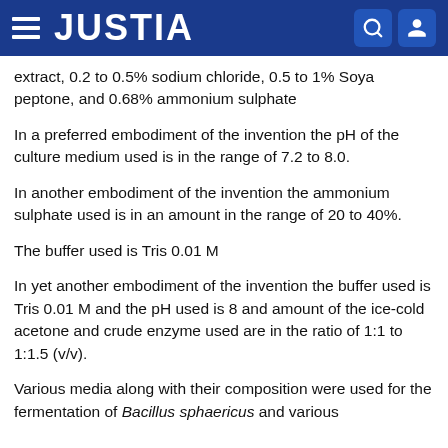JUSTIA
extract, 0.2 to 0.5% sodium chloride, 0.5 to 1% Soya peptone, and 0.68% ammonium sulphate
In a preferred embodiment of the invention the pH of the culture medium used is in the range of 7.2 to 8.0.
In another embodiment of the invention the ammonium sulphate used is in an amount in the range of 20 to 40%.
The buffer used is Tris 0.01 M
In yet another embodiment of the invention the buffer used is Tris 0.01 M and the pH used is 8 and amount of the ice-cold acetone and crude enzyme used are in the ratio of 1:1 to 1:1.5 (v/v).
Various media along with their composition were used for the fermentation of Bacillus sphaericus and various yields of the same. The machine was obtained. See also...